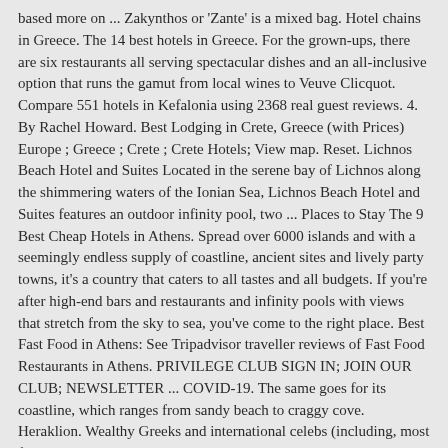based more on ... Zakynthos or 'Zante' is a mixed bag. Hotel chains in Greece. The 14 best hotels in Greece. For the grown-ups, there are six restaurants all serving spectacular dishes and an all-inclusive option that runs the gamut from local wines to Veuve Clicquot. Compare 551 hotels in Kefalonia using 2368 real guest reviews. 4. By Rachel Howard. Best Lodging in Crete, Greece (with Prices) Europe ; Greece ; Crete ; Crete Hotels; View map. Reset. Lichnos Beach Hotel and Suites Located in the serene bay of Lichnos along the shimmering waters of the Ionian Sea, Lichnos Beach Hotel and Suites features an outdoor infinity pool, two ... Places to Stay The 9 Best Cheap Hotels in Athens. Spread over 6000 islands and with a seemingly endless supply of coastline, ancient sites and lively party towns, it's a country that caters to all tastes and all budgets. If you're after high-end bars and restaurants and infinity pools with views that stretch from the sky to sea, you've come to the right place. Best Fast Food in Athens: See Tripadvisor traveller reviews of Fast Food Restaurants in Athens. PRIVILEGE CLUB SIGN IN; JOIN OUR CLUB; NEWSLETTER ... COVID-19. The same goes for its coastline, which ranges from sandy beach to craggy cove. Heraklion. Wealthy Greeks and international celebs (including, most famously, Leonard Cohen) bought property here, but there's still much to entice first-timers. Born in London and raised in Athens, Rachel Howard has flitted between the two cities ever